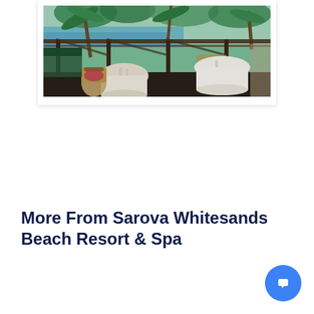[Figure (photo): Outdoor beach resort restaurant with rattan chairs, white-clothed tables, wooden pergola structure, and tropical garden with palm trees and ocean view in background]
More From Sarova Whitesands Beach Resort & Spa